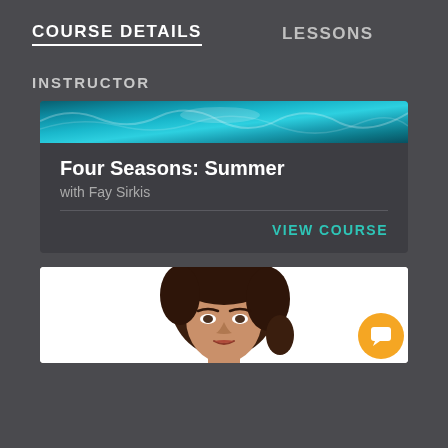COURSE DETAILS    LESSONS
INSTRUCTOR
[Figure (screenshot): Course card for 'Four Seasons: Summer with Fay Sirkis' showing a teal/blue abstract header image, course title, subtitle, and VIEW COURSE button]
[Figure (photo): Photo of a woman with curly brown hair, showing face and shoulders on white background, with orange chat bubble icon in bottom right]